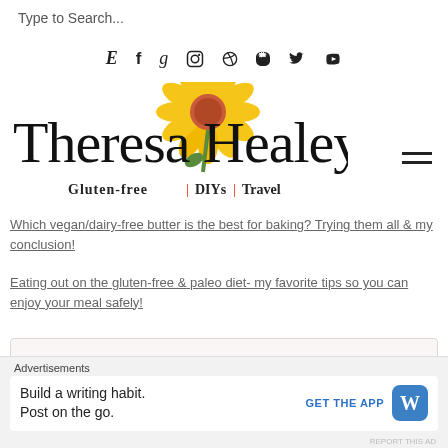Type to Search...
[Figure (infographic): Social media icons row: Etsy (E), Facebook (f), Goodreads (g), Instagram, Pinterest, TikTok, Twitter, YouTube]
[Figure (logo): Theresa Healey blog logo with sunflower illustration and tagline: Gluten-free | DIYs | Travel]
Which vegan/dairy-free butter is the best for baking? Trying them all & my conclusion!
Eating out on the gluten-free & paleo diet- my favorite tips so you can enjoy your meal safely!
[Figure (infographic): Download your free paleo food shopping list promotional box]
Advertisements
[Figure (screenshot): WordPress app advertisement: Build a writing habit. Post on the go. GET THE APP with WordPress logo]